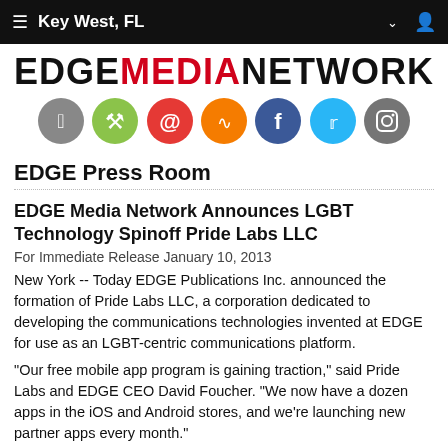Key West, FL
[Figure (logo): EDGE MEDIA NETWORK logo with social media icons below]
EDGE Press Room
EDGE Media Network Announces LGBT Technology Spinoff Pride Labs LLC
For Immediate Release January 10, 2013
New York -- Today EDGE Publications Inc. announced the formation of Pride Labs LLC, a corporation dedicated to developing the communications technologies invented at EDGE for use as an LGBT-centric communications platform.
"Our free mobile app program is gaining traction," said Pride Labs and EDGE CEO David Foucher. "We now have a dozen apps in the iOS and Android stores, and we're launching new partner apps every month."